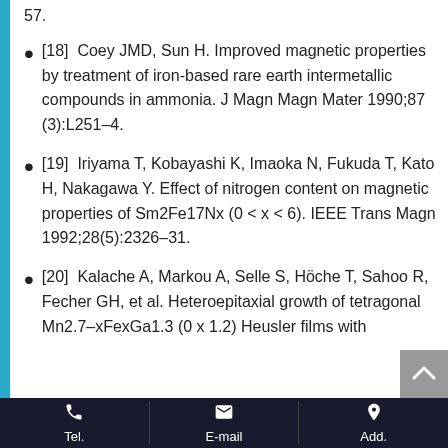57.
[18]  Coey JMD, Sun H. Improved magnetic properties by treatment of iron-based rare earth intermetallic compounds in ammonia. J Magn Magn Mater 1990;87 (3):L251–4.
[19]  Iriyama T, Kobayashi K, Imaoka N, Fukuda T, Kato H, Nakagawa Y. Effect of nitrogen content on magnetic properties of Sm2Fe17Nx (0 < x < 6). IEEE Trans Magn 1992;28(5):2326–31.
[20]  Kalache A, Markou A, Selle S, Höche T, Sahoo R, Fecher GH, et al. Heteroepitaxial growth of tetragonal Mn2.7–xFexGa1.3 (0 x 1.2) Heusler films with
Tel.   E-mail   Add.